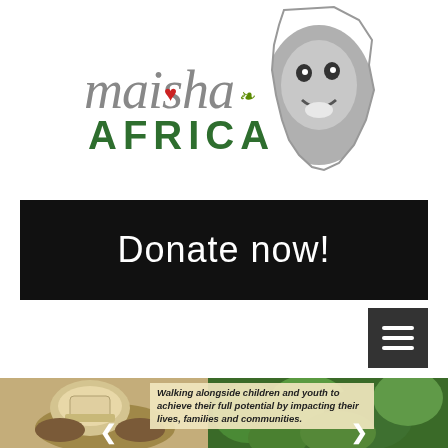[Figure (logo): Maisha Africa logo with stylized italic grey text 'maisha' with red heart and green leaf, bold green 'AFRICA' text, and a greyscale illustration of a child's smiling face overlaid on an Africa continent silhouette]
Donate now!
[Figure (screenshot): Mobile website screenshot showing a hamburger menu icon (three white lines on dark grey background)]
[Figure (photo): Screenshot of website bottom section with cream/yellow background, showing two photos: left photo of hands holding a container, right photo of green foliage, with overlaid italic text: 'Walking alongside children and youth to achieve their full potential by impacting their lives, families and communities.']